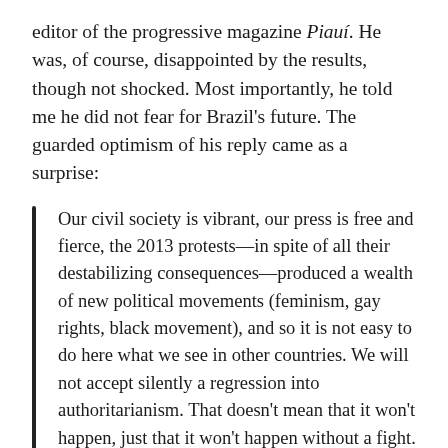editor of the progressive magazine Piauí. He was, of course, disappointed by the results, though not shocked. Most importantly, he told me he did not fear for Brazil's future. The guarded optimism of his reply came as a surprise:
Our civil society is vibrant, our press is free and fierce, the 2013 protests—in spite of all their destabilizing consequences—produced a wealth of new political movements (feminism, gay rights, black movement), and so it is not easy to do here what we see in other countries. We will not accept silently a regression into authoritarianism. That doesn't mean that it won't happen, just that it won't happen without a fight.
Indeed, a fight is needed. But even as the situation